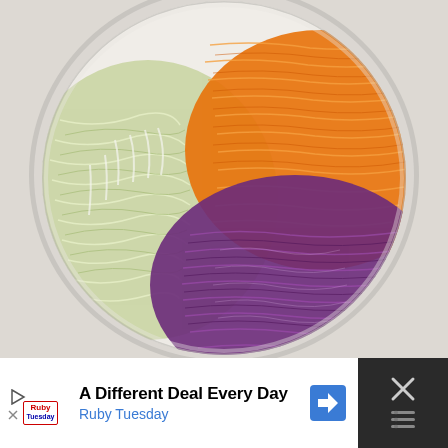[Figure (photo): Overhead view of a glass bowl containing three sections of coleslaw ingredients: shredded green/white cabbage on the left, shredded orange carrots on the upper right, and shredded purple red cabbage on the lower right, on a light gray background.]
[Figure (infographic): Advertisement bar for Ruby Tuesday restaurant. Black background on right side with X close button. White background on left side with play button icon, Ruby Tuesday logo, text 'A Different Deal Every Day' in bold, 'Ruby Tuesday' in blue, and a blue navigation arrow icon on the right of the ad content.]